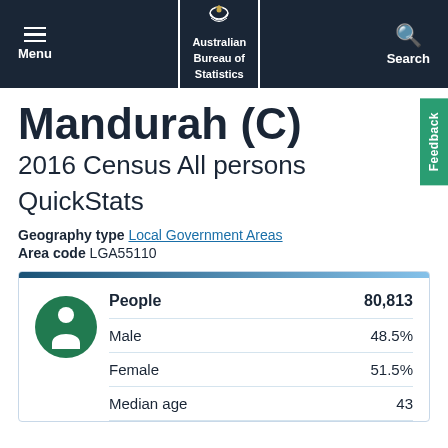Menu | Australian Bureau of Statistics | Search
Mandurah (C)
2016 Census All persons QuickStats
Geography type Local Government Areas
Area code LGA55110
|  |  |
| --- | --- |
| People | 80,813 |
| Male | 48.5% |
| Female | 51.5% |
| Median age | 43 |